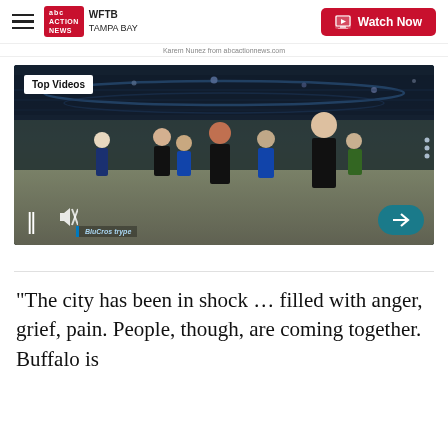WFTB Tampa Bay — Watch Now
Karem Nunez from abcactionnews.com
[Figure (screenshot): Video player screenshot showing people dancing/exercising on an arena floor. A 'Top Videos' label is visible in the upper-left of the video. Pause and mute controls appear at the bottom-left, and a forward arrow button at the bottom-right. A Blue Cross logo watermark appears at the bottom-left.]
"The city has been in shock … filled with anger, grief, pain. People, though, are coming together. Buffalo is